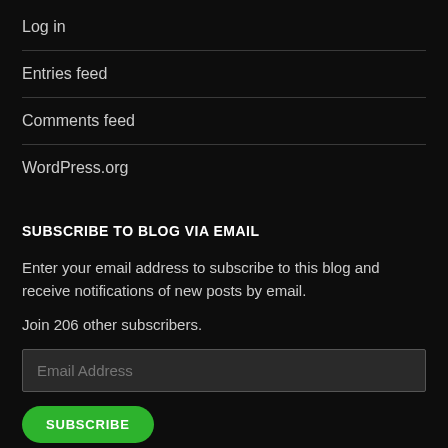Log in
Entries feed
Comments feed
WordPress.org
SUBSCRIBE TO BLOG VIA EMAIL
Enter your email address to subscribe to this blog and receive notifications of new posts by email.
Join 206 other subscribers.